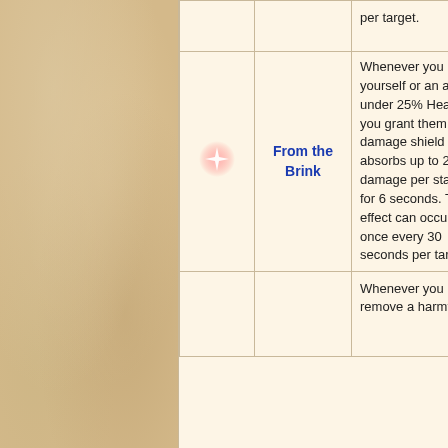| Icon | Name | Description | Points |  |
| --- | --- | --- | --- | --- |
|  |  | per target. |  |  |
| [star icon] | From the Brink | Whenever you heal yourself or an ally under 25% Health, you grant them a damage shield that absorbs up to 2200 damage per stage, for 6 seconds. This effect can occur once every 30 seconds per target. | 10 |  |
|  |  | Whenever you remove a harmful |  |  |